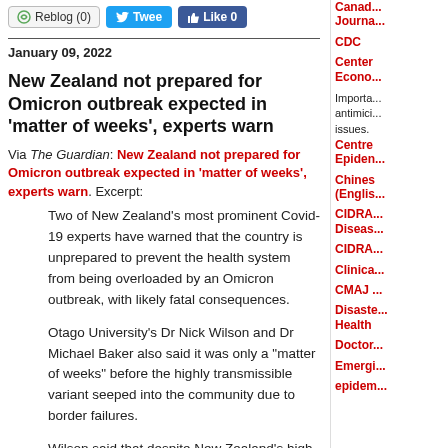Reblog (0) | Tweet | Like 0
January 09, 2022
New Zealand not prepared for Omicron outbreak expected in 'matter of weeks', experts warn
Via The Guardian: New Zealand not prepared for Omicron outbreak expected in 'matter of weeks', experts warn. Excerpt:
Two of New Zealand's most prominent Covid-19 experts have warned that the country is unprepared to prevent the health system from being overloaded by an Omicron outbreak, with likely fatal consequences.
Otago University's Dr Nick Wilson and Dr Michael Baker also said it was only a "matter of weeks" before the highly transmissible variant seeped into the community due to border failures.
Wilson said that despite New Zealand's high vaccination rates, the number of adults who had
Canad... Journal...
CDC
Center Econo... - Important antimicr... issues.
Centre Epiden...
Chines (Englis...
CIDRA Diseas...
CIDRA
Clinica
CMAJ
Disaste Health
Doctor
Emergi
epidem